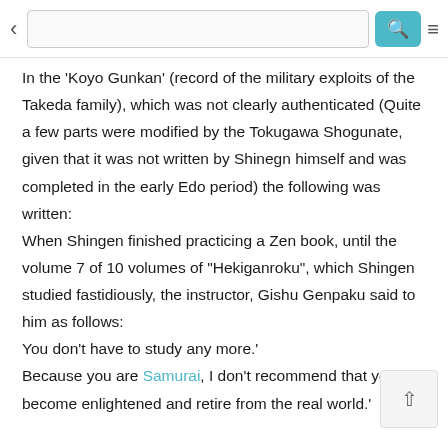< [search bar] [search button] [menu]
In the 'Koyo Gunkan' (record of the military exploits of the Takeda family), which was not clearly authenticated (Quite a few parts were modified by the Tokugawa Shogunate, given that it was not written by Shinegn himself and was completed in the early Edo period) the following was written:
When Shingen finished practicing a Zen book, until the volume 7 of 10 volumes of "Hekiganroku", which Shingen studied fastidiously, the instructor, Gishu Genpaku said to him as follows:
You don't have to study any more.'
Because you are Samurai, I don't recommend that you become enlightened and retire from the real world.'